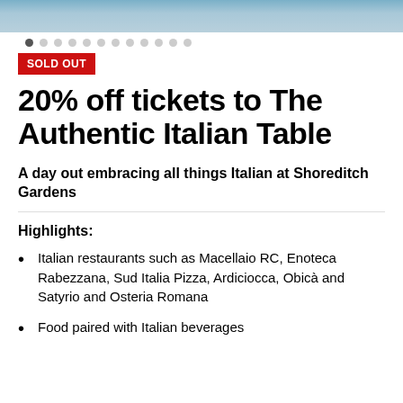[Figure (photo): Partial view of an outdoor event or garden scene, cropped at top]
● ○ ○ ○ ○ ○ ○ ○ ○ ○ ○ ○ (carousel dots)
SOLD OUT
20% off tickets to The Authentic Italian Table
A day out embracing all things Italian at Shoreditch Gardens
Highlights:
Italian restaurants such as Macellaio RC, Enoteca Rabezzana, Sud Italia Pizza, Ardiciocca, Obicà and Satyrio and Osteria Romana
Food paired with Italian beverages